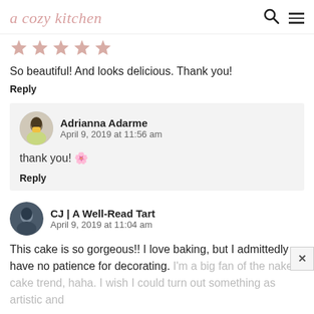a cozy kitchen
[Figure (illustration): Five pink star rating icons in a row]
So beautiful! And looks delicious. Thank you!
Reply
Adrianna Adarme
April 9, 2019 at 11:56 am
thank you! 🌸
Reply
CJ | A Well-Read Tart
April 9, 2019 at 11:04 am
This cake is so gorgeous!! I love baking, but I admittedly have no patience for decorating. I'm a big fan of the naked cake trend, haha. I wish I could turn out something as artistic and